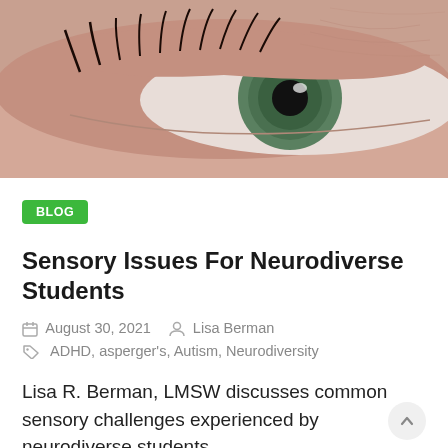[Figure (photo): Close-up macro photograph of a human eye with green iris and visible eyelashes, skin texture visible around the eye]
BLOG
Sensory Issues For Neurodiverse Students
August 30, 2021   Lisa Berman
ADHD, asperger's, Autism, Neurodiversity
Lisa R. Berman, LMSW discusses common sensory challenges experienced by neurodiverse students.
Read More